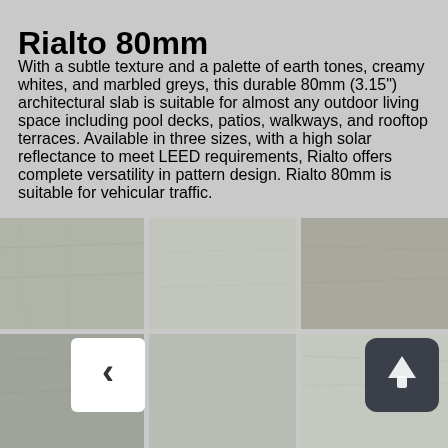Rialto 80mm
With a subtle texture and a palette of earth tones, creamy whites, and marbled greys, this durable 80mm (3.15") architectural slab is suitable for almost any outdoor living space including pool decks, patios, walkways, and rooftop terraces. Available in three sizes, with a high solar reflectance to meet LEED requirements, Rialto offers complete versatility in pattern design. Rialto 80mm is suitable for vehicular traffic.
[Figure (photo): Grid of six stone tile texture photos showing grey and beige architectural slabs, with navigation arrows overlaid]